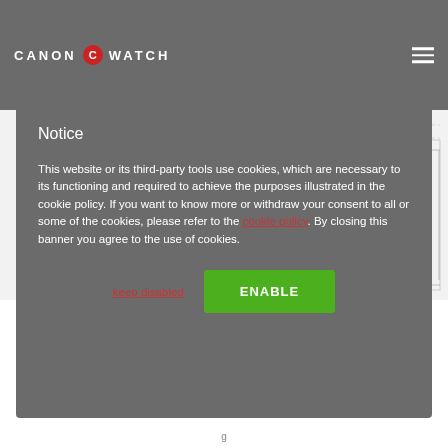CANON  C  WATCH
[Figure (engineering-diagram): Technical engineering schematic showing cross-section with numbered parts: 101, 105, 106, 106a, 106c. Shows mechanical components with cutaway detail lines.]
Notice
This website or its third-party tools use cookies, which are necessary to its functioning and required to achieve the purposes illustrated in the cookie policy. If you want to know more or withdraw your consent to all or some of the cookies, please refer to the cookie policy. By closing this banner you agree to the use of cookies.
keep disabled
ENABLE
g